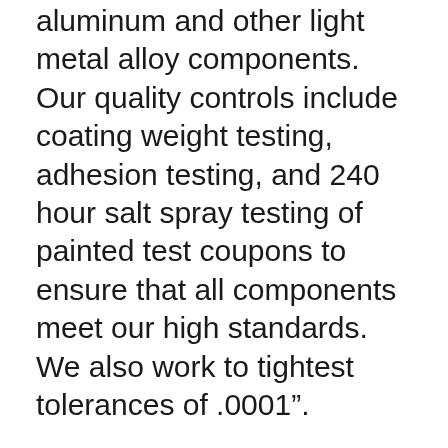aluminum and other light metal alloy components. Our quality controls include coating weight testing, adhesion testing, and 240 hour salt spray testing of painted test coupons to ensure that all components meet our high standards. We also work to tightest tolerances of .0001".
To learn more about this environmentally friendly pretreatment coating process project, please see the table below. If you have additional questions or would like to know more about our products or services, please contact us today.
Request a Quote